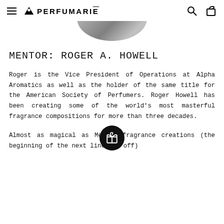PERFUMARIÉ
[Figure (photo): Cropped bottom portion of a circular/oval photo showing a person, visible as a dark elliptical crop at the top of the content area]
MENTOR: ROGER A. HOWELL
Roger is the Vice President of Operations at Alpha Aromatics as well as the holder of the same title for the American Society of Perfumers. Roger Howell has been creating some of the world's most masterful fragrance compositions for more than three decades.
Almost as magical as Me___th fragrance creations (the beginning of the next line cut off)